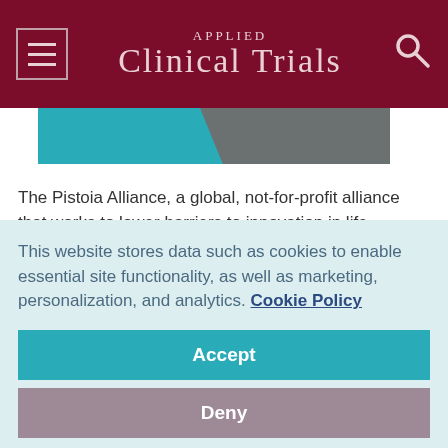Applied Clinical Trials
[Figure (illustration): Decorative image strip with teal and grey diagonal shapes]
The Pistoia Alliance, a global, not-for-profit alliance that works to lower barriers to innovation in life sciences R&D, has launched a new series of programs to help organizations collaborate on advancing the role of digital technology within life sciences R&D and healthcare. As part of the Pistoia
This website stores data such as cookies to enable essential site functionality, as well as marketing, personalization, and analytics. Cookie Policy
Accept
Deny